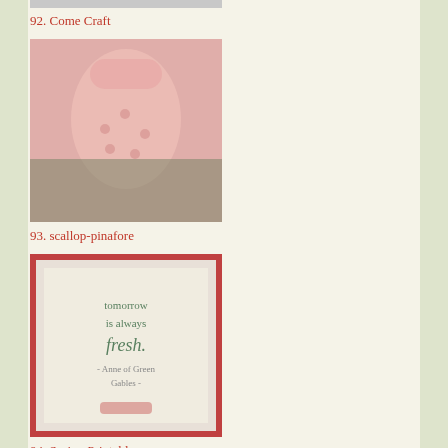[Figure (photo): Thumbnail image at top, partially cut off]
92. Come Craft
[Figure (photo): Pink scallop pinafore dress worn by a child, pink floral/polka dot fabric]
93. scallop-pinafore
[Figure (photo): Spring printable with text on red gingham border background]
94. Spring Printabl
[Figure (photo): Nursery crib with framed letters on a blue-grey wall]
95. Framed Letters
[Figure (photo): Yellow tassel or decorative item, partially visible at bottom]